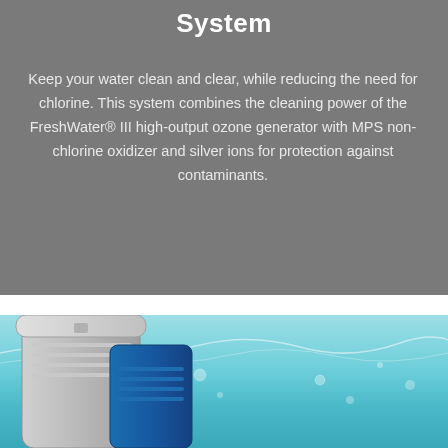System
Keep your water clean and clear, while reducing the need for chlorine. This system combines the cleaning power of the FreshWater® III high-output ozone generator with MPS non-chlorine oxidizer and silver ions for protection against contaminants.
[Figure (photo): Photo of water filtration/ozone system products (grey and blue cylindrical containers) submerged in or adjacent to clear turquoise water with bubbles]